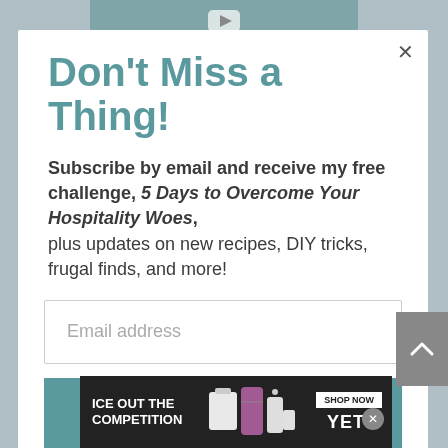[Figure (screenshot): Background page with teal/gray tones and YouTube icon bar at top]
Don't Miss a Thing!
Subscribe by email and receive my free challenge, 5 Days to Overcome Your Hospitality Woes, plus updates on new recipes, DIY tricks, frugal finds, and more!
Email address
SUBSCRIBE
[Figure (screenshot): Advertisement banner: ICE OUT THE COMPETITION with YETI coolers and bags, SHOP NOW button]